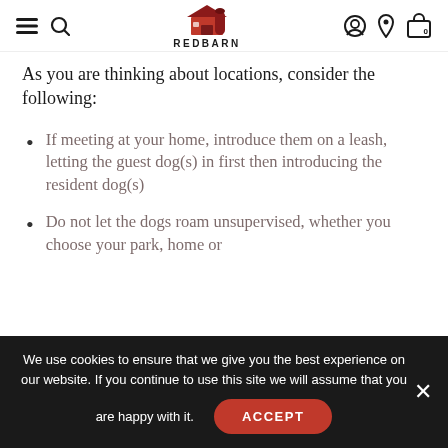REDBARN [navigation header with menu, search, account, location, cart icons]
As you are thinking about locations, consider the following:
If meeting at your home, introduce them on a leash, letting the guest dog(s) in first then introducing the resident dog(s)
Do not let the dogs roam unsupervised, whether you choose your park, home or
We use cookies to ensure that we give you the best experience on our website. If you continue to use this site we will assume that you are happy with it.
ACCEPT